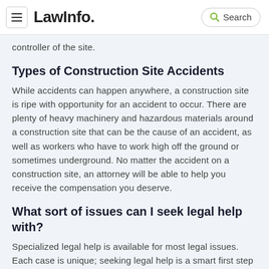LawInfo. Search
controller of the site.
Types of Construction Site Accidents
While accidents can happen anywhere, a construction site is ripe with opportunity for an accident to occur. There are plenty of heavy machinery and hazardous materials around a construction site that can be the cause of an accident, as well as workers who have to work high off the ground or sometimes underground. No matter the accident on a construction site, an attorney will be able to help you receive the compensation you deserve.
What sort of issues can I seek legal help with?
Specialized legal help is available for most legal issues. Each case is unique; seeking legal help is a smart first step toward understanding your legal situation and seeking the best path toward resolution for your case. An experienced lawyer